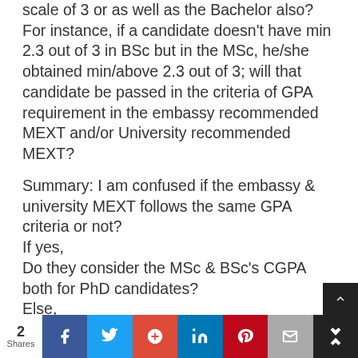scale of 3 or as well as the Bachelor also?
For instance, if a candidate doesn't have min 2.3 out of 3 in BSc but in the MSc, he/she obtained min/above 2.3 out of 3; will that candidate be passed in the criteria of GPA requirement in the embassy recommended MEXT and/or University recommended MEXT?
Summary: I am confused if the embassy & university MEXT follows the same GPA criteria or not?
If yes,
Do they consider the MSc & BSc's CGPA both for PhD candidates?
Else,
Which one do they consider?
2 Shares | Facebook | Twitter | Google+ | LinkedIn | Pinterest | Email | Crown